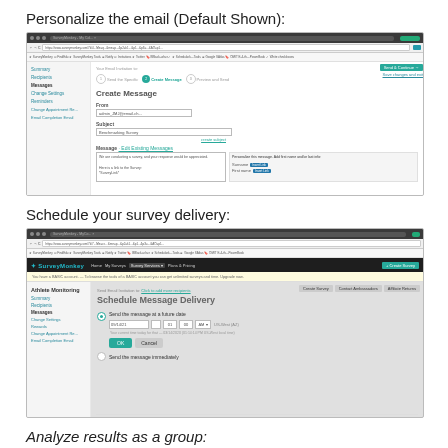Personalize the email (Default Shown):
[Figure (screenshot): Screenshot of SurveyMonkey email creation interface showing 'Create Message' form with From field, Subject field reading 'Benchmarking Survey', and message body text area with default survey invitation text. Left sidebar shows navigation menu items: Summary, Recipients, Messages (active), Change Settings, Reminders, Change Appointment Re..., Email Completion Email. Right panel shows merge field options.]
Schedule your survey delivery:
[Figure (screenshot): Screenshot of SurveyMonkey 'Schedule Message Delivery' page. Shows SurveyMonkey branded header with navigation. Main area labeled 'Athlete Monitoring' shows 'Schedule Message Delivery' form with option to 'Send the message at a future date' selected, with date/time pickers showing date field, hour, minute, AM/PM dropdowns, and OK/Cancel buttons. Second collapsed option reads 'Send the message immediately'.]
Analyze results as a group: